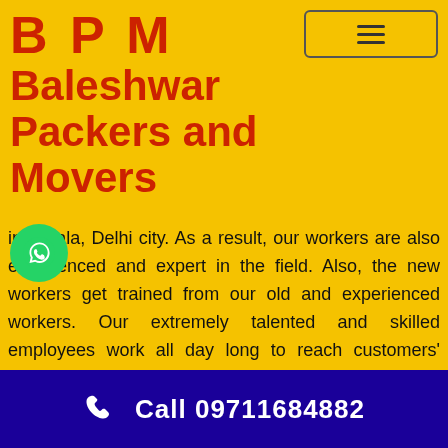B P M Baleshwar Packers and Movers
in Karala, Delhi city. As a result, our workers are also experienced and expert in the field. Also, the new workers get trained from our old and experienced workers. Our extremely talented and skilled employees work all day long to reach customers' satisfaction. Our company BPM Baleshwar Packers and Movers has ample manpower and infrastructure.
Call 09711684882